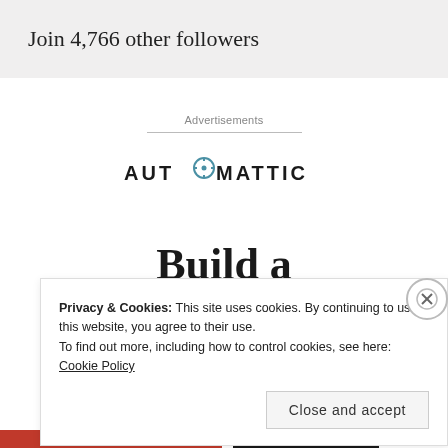Join 4,766 other followers
Advertisements
[Figure (logo): Automattic logo with circular compass icon replacing the 'O']
Build a
Privacy & Cookies: This site uses cookies. By continuing to use this website, you agree to their use.
To find out more, including how to control cookies, see here: Cookie Policy
Close and accept